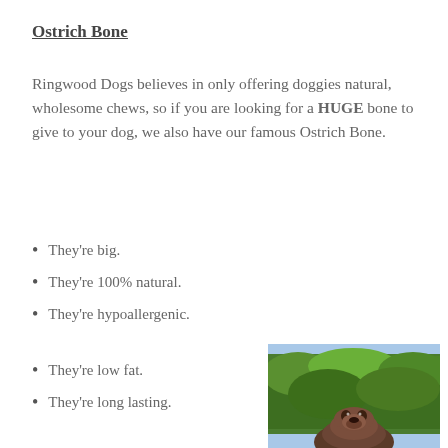Ostrich Bone
Ringwood Dogs believes in only offering doggies natural, wholesome chews, so if you are looking for a HUGE bone to give to your dog, we also have our famous Ostrich Bone.
They’re big.
They’re 100% natural.
They’re hypoallergenic.
They’re low fat.
They’re long lasting.
[Figure (photo): A dog looking up outdoors with green foliage in the background]